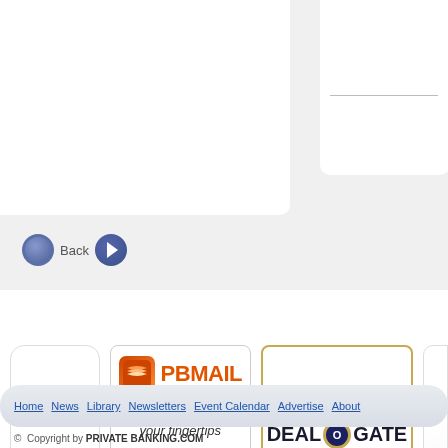[Figure (screenshot): Navigation back/forward buttons with 'Back' label in gray UI area]
[Figure (logo): PBMAIL advertisement banner: orange icon with 'PBMAIL' text, tagline 'your audience at your fingertips']
[Figure (logo): DealGate advertisement: 'DEAL O GATE' logo with tagline 'The global platform for M&A professionals.']
Home  News  Library  Newsletters  Event Calendar  Advertise  About
© Copyright by PRIVATE BANKING.COM 2002-2022 - All rights reserved.